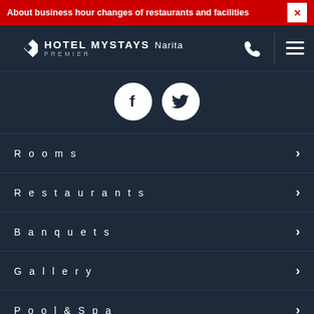About business hour changes of restaurants and facilities
[Figure (logo): Hotel MyStays Narita Premier logo with diamond shape icon]
[Figure (infographic): Facebook and Twitter social media icons (white circles)]
Rooms
Restaurants
Banquets
Gallery
Pool & Spa